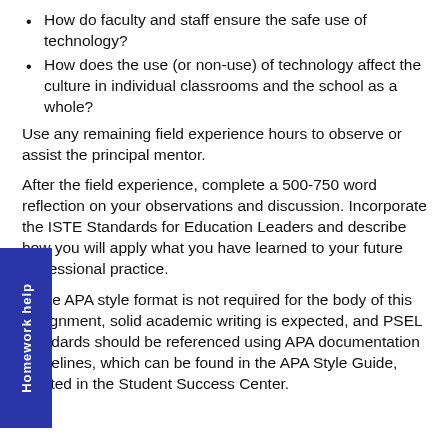How do faculty and staff ensure the safe use of technology?
How does the use (or non-use) of technology affect the culture in individual classrooms and the school as a whole?
Use any remaining field experience hours to observe or assist the principal mentor.
After the field experience, complete a 500-750 word reflection on your observations and discussion. Incorporate the ISTE Standards for Education Leaders and describe how you will apply what you have learned to your future professional practice.
While APA style format is not required for the body of this assignment, solid academic writing is expected, and PSEL standards should be referenced using APA documentation guidelines, which can be found in the APA Style Guide, located in the Student Success Center.